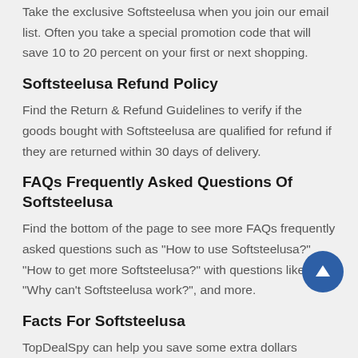Take the exclusive Softsteelusa when you join our email list. Often you take a special promotion code that will save 10 to 20 percent on your first or next shopping.
Softsteelusa Refund Policy
Find the Return & Refund Guidelines to verify if the goods bought with Softsteelusa are qualified for refund if they are returned within 30 days of delivery.
FAQs Frequently Asked Questions Of Softsteelusa
Find the bottom of the page to see more FAQs frequently asked questions such as "How to use Softsteelusa?" "How to get more Softsteelusa?" with questions like "Why can't Softsteelusa work?", and more.
Facts For Softsteelusa
TopDealSpy can help you save some extra dollars thanks to the